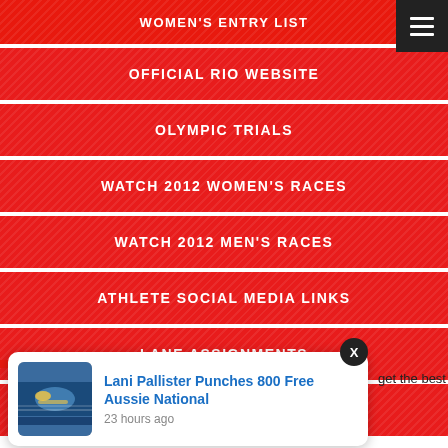WOMEN'S ENTRY LIST
OFFICIAL RIO WEBSITE
OLYMPIC TRIALS
WATCH 2012 WOMEN'S RACES
WATCH 2012 MEN'S RACES
ATHLETE SOCIAL MEDIA LINKS
LANE ASSIGNMENTS
DAY 4 PRELIMS LIVE STREAM
[Figure (screenshot): Notification popup showing 'Lani Pallister Punches 800 Free Aussie National' with swimming photo thumbnail, 23 hours ago]
get the best